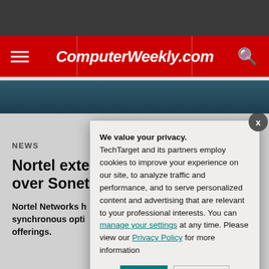ComputerWeekly.com
NEWS
Nortel exten... over Sonet
Nortel Networks h... synchronous opti... offerings.
We value your privacy. TechTarget and its partners employ cookies to improve your experience on our site, to analyze traffic and performance, and to serve personalized content and advertising that are relevant to your professional interests. You can manage your settings at any time. Please view our Privacy Policy for more information